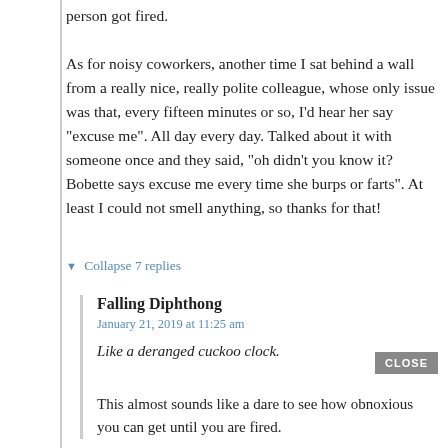person got fired.

As for noisy coworkers, another time I sat behind a wall from a really nice, really polite colleague, whose only issue was that, every fifteen minutes or so, I’d hear her say “excuse me”. All day every day. Talked about it with someone once and they said, “oh didn’t you know it? Bobette says excuse me every time she burps or farts”. At least I could not smell anything, so thanks for that!
▾ Collapse 7 replies
Falling Diphthong
January 21, 2019 at 11:25 am
Like a deranged cuckoo clock.
This almost sounds like a dare to see how obnoxious you can get until you are fired.